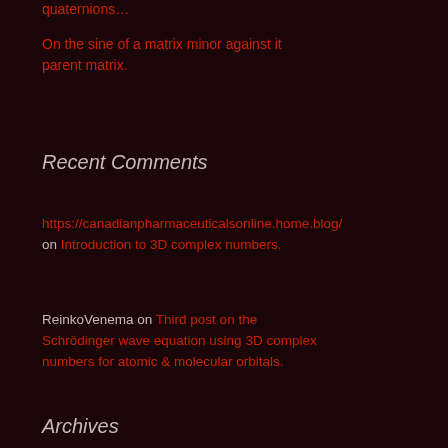quaternions…
On the sine of a matrix minor against it parent matrix.
Recent Comments
https://canadianpharmaceuticalsonline.home.blog/ on Introduction to 3D complex numbers.
ReinkoVenema on Third post on the Schrödinger wave equation using 3D complex numbers for atomic & molecular orbitals.
Archives